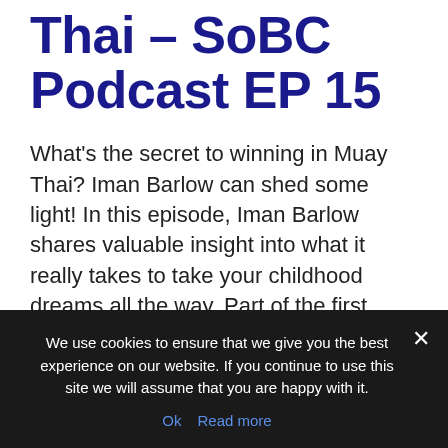Thai – SoBC Podcast EP 15
What's the secret to winning in Muay Thai? Iman Barlow can shed some light! In this episode, Iman Barlow shares valuable insight into what it really takes to take your childhood dreams all the way. Part of the first generation of child nak Muay outside of Thailand, and with a competitive career spanning 25 [...]
We use cookies to ensure that we give you the best experience on our website. If you continue to use this site we will assume that you are happy with it.